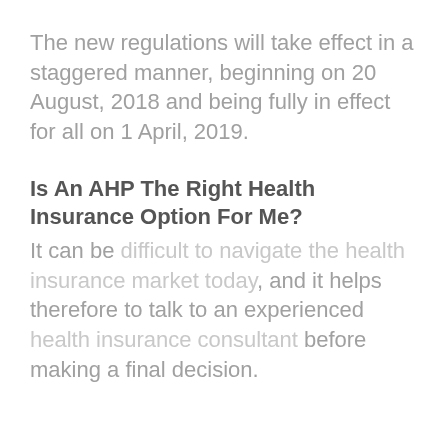The new regulations will take effect in a staggered manner, beginning on 20 August, 2018 and being fully in effect for all on 1 April, 2019.
Is An AHP The Right Health Insurance Option For Me?
It can be difficult to navigate the health insurance market today, and it helps therefore to talk to an experienced health insurance consultant before making a final decision.